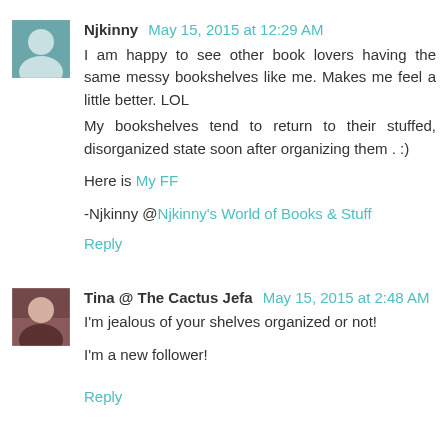Njkinny May 15, 2015 at 12:29 AM
I am happy to see other book lovers having the same messy bookshelves like me. Makes me feel a little better. LOL
My bookshelves tend to return to their stuffed, disorganized state soon after organizing them . :)

Here is My FF

-Njkinny @Njkinny's World of Books & Stuff
Reply
Tina @ The Cactus Jefa May 15, 2015 at 2:48 AM
I'm jealous of your shelves organized or not!

I'm a new follower!

Reply